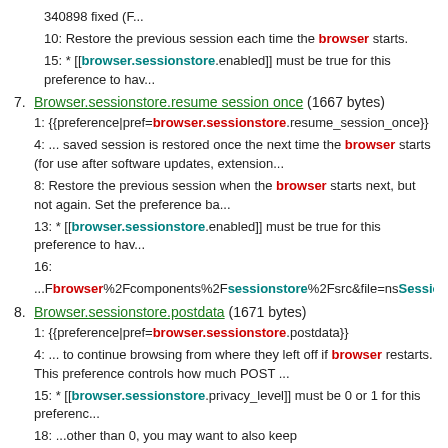340898 fixed (F...
10: Restore the previous session each time the browser starts.
15: * [[browser.sessionstore.enabled]] must be true for this preference to hav...
7. Browser.sessionstore.resume session once (1667 bytes)
1: {{preference|pref=browser.sessionstore.resume_session_once}}
4: ... saved session is restored once the next time the browser starts (for use after software updates, extension...
8: Restore the previous session when the browser starts next, but not again. Set the preference ba...
13: * [[browser.sessionstore.enabled]] must be true for this preference to hav...
16:
...Fbrowser%2Fcomponents%2Fsessionstore%2Fsrc&file=nsSessionStore.js&re
8. Browser.sessionstore.postdata (1671 bytes)
1: {{preference|pref=browser.sessionstore.postdata}}
4: ... to continue browsing from where they left off if browser restarts. This preference controls how much POST ...
15: * [[browser.sessionstore.privacy_level]] must be 0 or 1 for this preferenc...
18: ...other than 0, you may want to also keep [[browser.sessionstore.privacy_level]] set to 1.
21:
...Fbrowser%2Fcomponents%2Fsessionstore%2Fsrc&file=nsSessionStore.js&re
9. Browser.sessionstore.privacy level (2130 bytes)